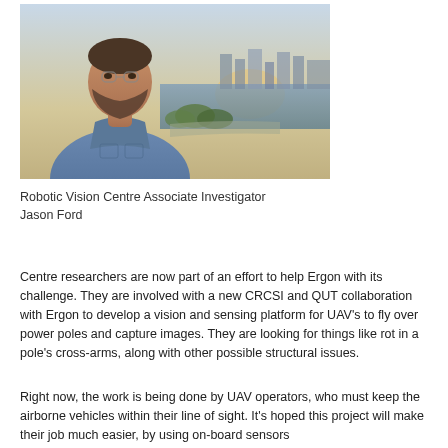[Figure (photo): Photo of a bearded man wearing a blue shirt, standing outdoors with a city skyline, water, and sunset sky in the background.]
Robotic Vision Centre Associate Investigator Jason Ford
Centre researchers are now part of an effort to help Ergon with its challenge. They are involved with a new CRCSI and QUT collaboration with Ergon to develop a vision and sensing platform for UAV's to fly over power poles and capture images. They are looking for things like rot in a pole's cross-arms, along with other possible structural issues.
Right now, the work is being done by UAV operators, who must keep the airborne vehicles within their line of sight. It's hoped this project will make their job much easier, by using on-board sensors